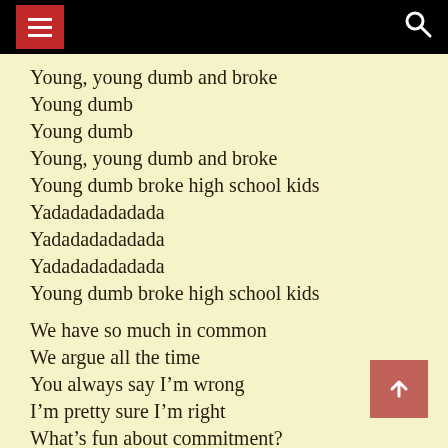Young, young dumb and broke
Young dumb
Young dumb
Young, young dumb and broke
Young dumb broke high school kids
Yadadadadadada
Yadadadadadada
Yadadadadadada
Young dumb broke high school kids
We have so much in common
We argue all the time
You always say I’m wrong
I’m pretty sure I’m right
What’s fun about commitment?